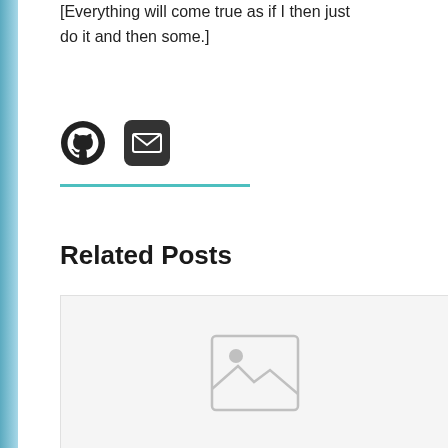[Everything will come true as if I then just do it and then some.]
[Figure (illustration): GitHub icon (circular Octocat logo) and email icon (envelope in rounded square), displayed as social/contact links]
Related Posts
[Figure (photo): Placeholder image box with grey image icon (mountain/landscape placeholder), set on a light grey background card]